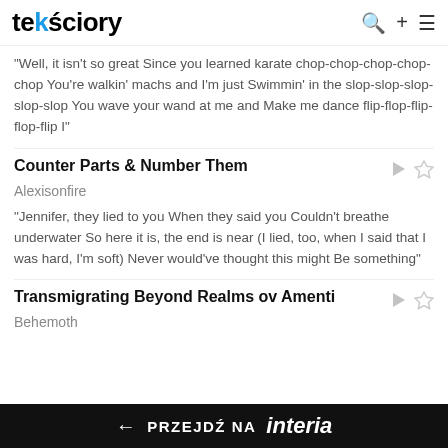tekściory
"Well, it isn't so great Since you learned karate chop-chop-chop-chop-chop You're walkin' machs and I'm just Swimmin' in the slop-slop-slop-slop-slop You wave your wand at me and Make me dance flip-flop-flip-flop-flip I"
Counter Parts & Number Them
Alexisonfire
"Jennifer, they lied to you When they said you Couldn't breathe underwater So here it is, the end is near (I lied, too, when I said that I was hard, I'm soft) Never would've thought this might Be something"
Transmigrating Beyond Realms ov Amenti
Behemoth
← PRZEJDŹ NA interia